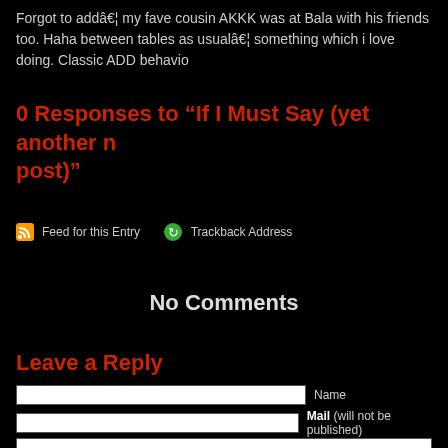Forgot to addâ€¦ my fave cousin AKKK was at Bala with his friends too. Haha between tables as usualâ€¦ something which i love doing. Classic ADD behavio
0 Responses to “If I Must Say (yet another n post)”
Feed for this Entry   Trackback Address
No Comments
Leave a Reply
Name
Mail (will not be published)
Website